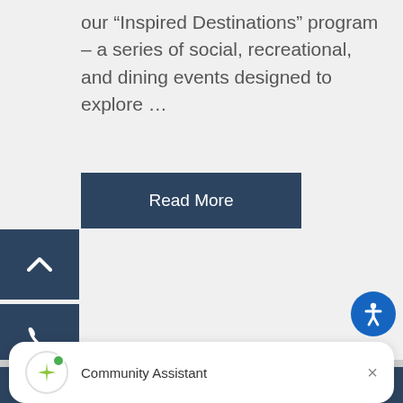our “Inspired Destinations” program – a series of social, recreational, and dining events designed to explore …
Read More
[Figure (infographic): Dark navy blue square button with upward chevron arrow icon (scroll to top)]
[Figure (infographic): Dark navy blue square button with telephone/phone icon]
[Figure (infographic): Dark navy blue square button with envelope/email icon]
[Figure (infographic): Blue circular accessibility icon with person symbol]
[Figure (logo): Green compass star logo with Inspired script text in footer area]
Community Assistant